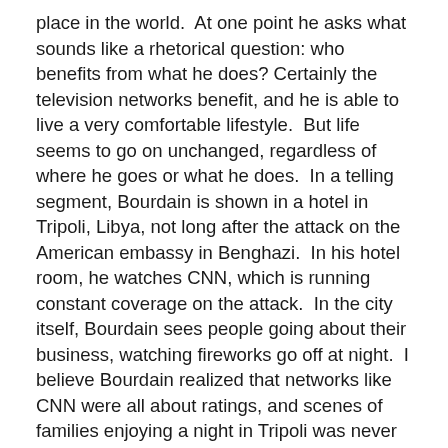place in the world.  At one point he asks what sounds like a rhetorical question: who benefits from what he does? Certainly the television networks benefit, and he is able to live a very comfortable lifestyle.  But life seems to go on unchanged, regardless of where he goes or what he does.  In a telling segment, Bourdain is shown in a hotel in Tripoli, Libya, not long after the attack on the American embassy in Benghazi.  In his hotel room, he watches CNN, which is running constant coverage on the attack.  In the city itself, Bourdain sees people going about their business, watching fireworks go off at night.  I believe Bourdain realized that networks like CNN were all about ratings, and scenes of families enjoying a night in Tripoli was never going to attract viewers, even though that was the reality.
I got the feeling that Bourdain was unsatisfied with where his life had taken him.  He'd been a cook, a chef, a writer, a television host, a husband and a father, but none of it was enough to make him happy.  At one point, he told the